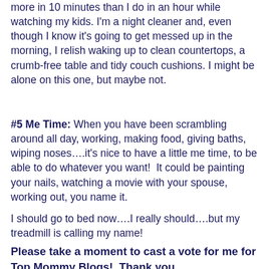#4 Productivity: At night, I can accomplish more in 10 minutes than I do in an hour while watching my kids. I'm a night cleaner and, even though I know it's going to get messed up in the morning, I relish waking up to clean countertops, a crumb-free table and tidy couch cushions. I might be alone on this one, but maybe not.
#5 Me Time: When you have been scrambling around all day, working, making food, giving baths, wiping noses….it's nice to have a little me time, to be able to do whatever you want!  It could be painting your nails, watching a movie with your spouse, working out, you name it.
I should go to bed now….I really should….but my treadmill is calling my name!
Please take a moment to cast a vote for me for Top Mommy Blogs!  Thank you.